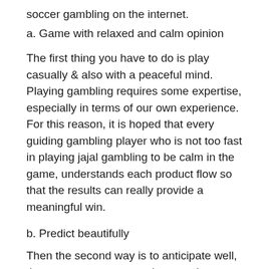soccer gambling on the internet.
a. Game with relaxed and calm opinion
The first thing you have to do is play casually & also with a peaceful mind. Playing gambling requires some expertise, especially in terms of our own experience. For this reason, it is hoped that every guiding gambling player who is not too fast in playing jajal gambling to be calm in the game, understands each product flow so that the results can really provide a meaningful win.
b. Predict beautifully
Then the second way is to anticipate well, there are many ways to do a good shadow. The first way is to look at the information in the mass infrastructure, this is important to do because by looking at the information available in the mass media members can compare predictions with